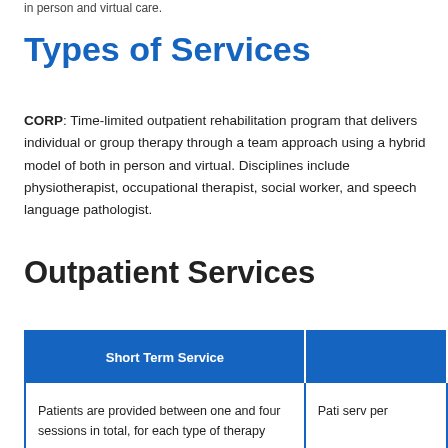in person and virtual care.
Types of Services
CORP: Time-limited outpatient rehabilitation program that delivers individual or group therapy through a team approach using a hybrid model of both in person and virtual. Disciplines include physiotherapist, occupational therapist, social worker, and speech language pathologist.
Outpatient Services
| Short Term Service |  |
| --- | --- |
| Patients are provided between one and four sessions in total, for each type of therapy | Pati serv per |